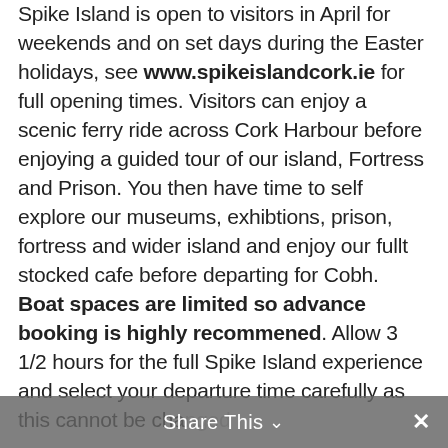Spike Island is open to visitors in April for weekends and on set days during the Easter holidays, see www.spikeislandcork.ie for full opening times. Visitors can enjoy a scenic ferry ride across Cork Harbour before enjoying a guided tour of our island, Fortress and Prison. You then have time to self explore our museums, exhibtions, prison, fortress and wider island and enjoy our fullt stocked cafe before departing for Cobh. Boat spaces are limited so advance booking is highly recommened. Allow 3 1/2 hours for the full Spike Island experience and select your departure time carefully as this cannot be changed.
Share This ∨  ✕